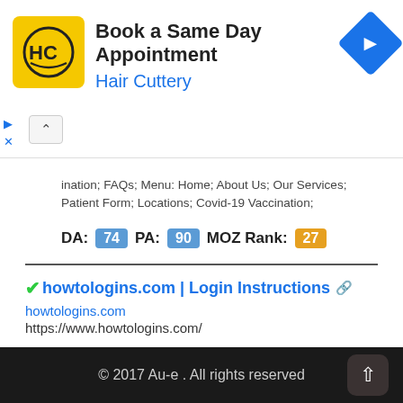[Figure (screenshot): Hair Cuttery ad banner: yellow square logo with HC, title 'Book a Same Day Appointment', subtitle 'Hair Cuttery', blue diamond navigation icon on right. Ad controls (play/close) on left.]
ination; FAQs; Menu: Home; About Us; Our Services; Patient Form; Locations; Covid-19 Vaccination;
DA: 74 PA: 90 MOZ Rank: 27
✓howtologins.com | Login Instructions 🔗
howtologins.com
https://www.howtologins.com/
Where you can find the solution if you get some trouble when logging any website
DA: 38 PA: 86 MOZ Rank: 57
© 2017 Au-e . All rights reserved